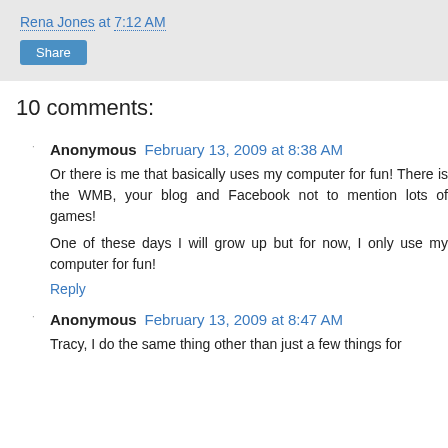Rena Jones at 7:12 AM
Share
10 comments:
Anonymous  February 13, 2009 at 8:38 AM
Or there is me that basically uses my computer for fun! There is the WMB, your blog and Facebook not to mention lots of games!
One of these days I will grow up but for now, I only use my computer for fun!
Reply
Anonymous  February 13, 2009 at 8:47 AM
Tracy, I do the same thing other than just a few things for